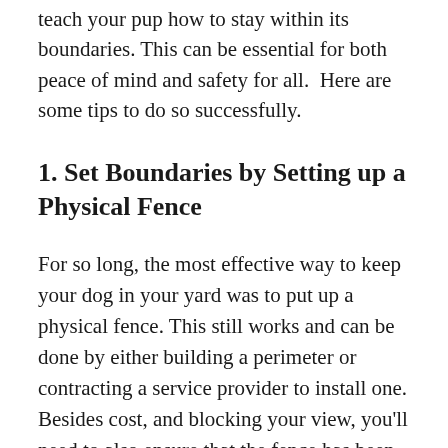teach your pup how to stay within its boundaries. This can be essential for both peace of mind and safety for all.  Here are some tips to do so successfully.
1. Set Boundaries by Setting up a Physical Fence
For so long, the most effective way to keep your dog in your yard was to put up a physical fence. This still works and can be done by either building a perimeter or contracting a service provider to install one. Besides cost, and blocking your view, you'll need to also ensure that the fence has been constructed properly so